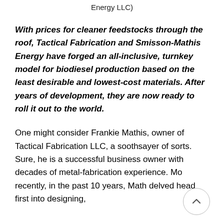Energy LLC)
With prices for cleaner feedstocks through the roof, Tactical Fabrication and Smisson-Mathis Energy have forged an all-inclusive, turnkey model for biodiesel production based on the least desirable and lowest-cost materials. After years of development, they are now ready to roll it out to the world.
One might consider Frankie Mathis, owner of Tactical Fabrication LLC, a soothsayer of sorts. Sure, he is a successful business owner with decades of metal-fabrication experience. More recently, in the past 10 years, Mathis delved head first into designing,